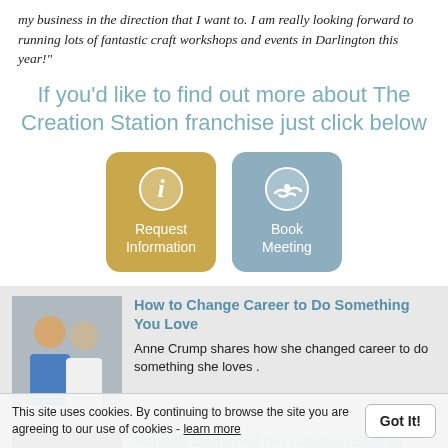my business in the direction that I want to. I am really looking forward to running lots of fantastic craft workshops and events in Darlington this year!"
If you'd like to find out more about The Creation Station franchise just click below
[Figure (infographic): Two call-to-action buttons: a gold/yellow button with an info icon labeled 'Request Information', and a blue-grey button with a handshake icon labeled 'Book Meeting']
[Figure (photo): Photo of two people smiling outdoors]
How to Change Career to Do Something You Love
Anne Crump shares how she changed career to do something she loves .
[Figure (photo): Photo showing a blurred design/logo background]
Hannah Launched her Creation Station Franchise in Early 2020
This site uses cookies. By continuing to browse the site you are agreeing to our use of cookies - learn more